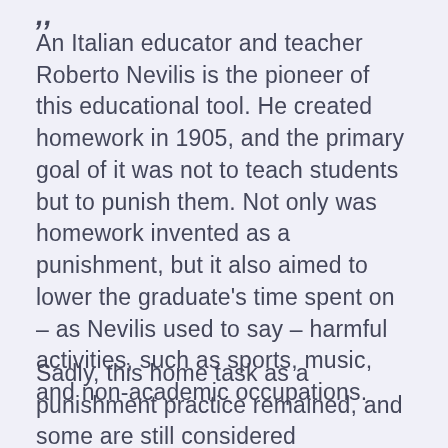An Italian educator and teacher Roberto Nevilis is the pioneer of this educational tool. He created homework in 1905, and the primary goal of it was not to teach students but to punish them. Not only was homework invented as a punishment, but it also aimed to lower the graduate's time spent on – as Nevilis used to say – harmful activities, such as sports, music, and non-academic occupations.
Sadly, this home task as a punishment practice remained, and some are still considered